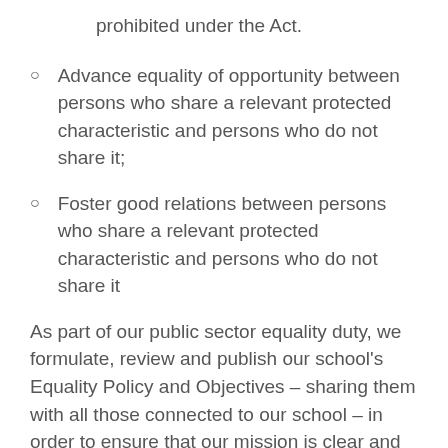prohibited under the Act.
Advance equality of opportunity between persons who share a relevant protected characteristic and persons who do not share it;
Foster good relations between persons who share a relevant protected characteristic and persons who do not share it
As part of our public sector equality duty, we formulate, review and publish our school's Equality Policy and Objectives – sharing them with all those connected to our school – in order to ensure that our mission is clear and communicated to all. Our Trust, as our parent organisation, also publishes a Trust wide Equalities information. Both can be found below: